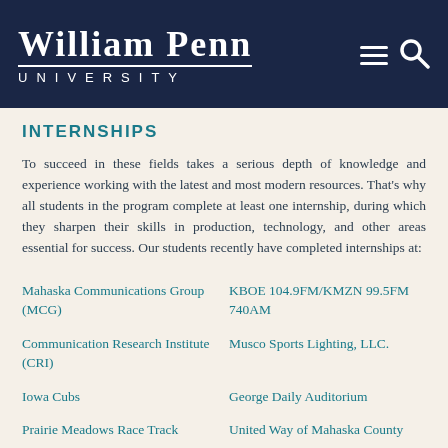WILLIAM PENN UNIVERSITY
INTERNSHIPS
To succeed in these fields takes a serious depth of knowledge and experience working with the latest and most modern resources. That's why all students in the program complete at least one internship, during which they sharpen their skills in production, technology, and other areas essential for success. Our students recently have completed internships at:
Mahaska Communications Group (MCG)
KBOE 104.9FM/KMZN 99.5FM 740AM
Communication Research Institute (CRI)
Musco Sports Lighting, LLC.
Iowa Cubs
George Daily Auditorium
Prairie Meadows Race Track
United Way of Mahaska County